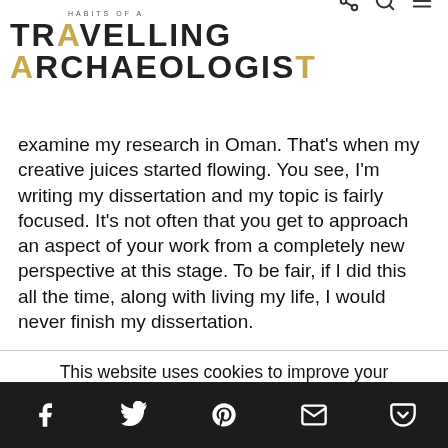HABITS OF A TRAVELLING ARCHAEOLOGIST
examine my research in Oman. That's when my creative juices started flowing. You see, I'm writing my dissertation and my topic is fairly focused. It's not often that you get to approach an aspect of your work from a completely new perspective at this stage. To be fair, if I did this all the time, along with living my life, I would never finish my dissertation.
This website uses cookies to improve your experience. We'll assume you're ok with this, but you can opt-out if you wish.
Social icons: Facebook, Twitter, Pinterest, Email, Pocket